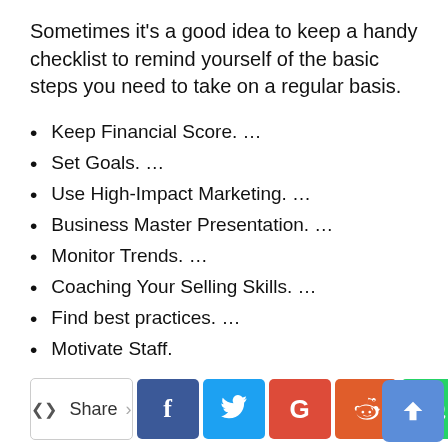Sometimes it's a good idea to keep a handy checklist to remind yourself of the basic steps you need to take on a regular basis.
Keep Financial Score. …
Set Goals. …
Use High-Impact Marketing. …
Business Master Presentation. …
Monitor Trends. …
Coaching Your Selling Skills. …
Find best practices. …
Motivate Staff.